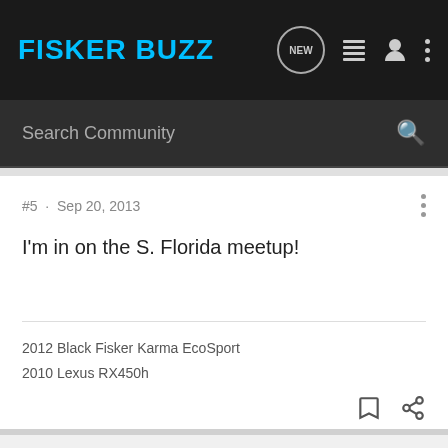FISKER BUZZ
Search Community
#5 · Sep 20, 2013
I'm in on the S. Florida meetup!
2012 Black Fisker Karma EcoSport
2010 Lexus RX450h
Mikey43 · Registered
Joined Dec 19, 2012 · 261 Posts